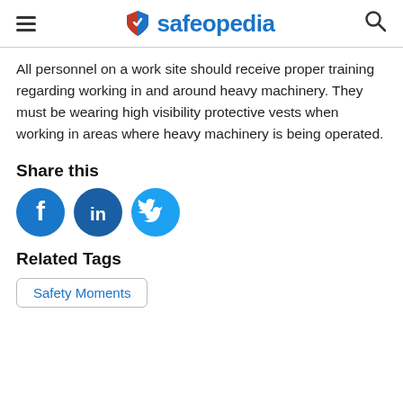safeopedia
All personnel on a work site should receive proper training regarding working in and around heavy machinery. They must be wearing high visibility protective vests when working in areas where heavy machinery is being operated.
Share this
[Figure (infographic): Three social media icon circles: Facebook (dark blue with white f), LinkedIn (dark blue with white 'in'), Twitter (sky blue with white bird)]
Related Tags
Safety Moments